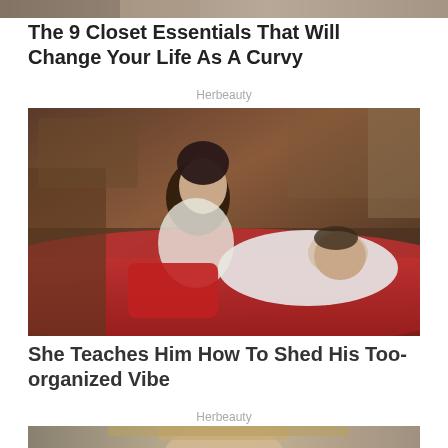[Figure (photo): Partial top image of fashion/lifestyle content, cropped at top edge]
The 9 Closet Essentials That Will Change Your Life As A Curvy
Herbeauty
[Figure (photo): A woman in red leaning over a man lying on a bed, from a TV show or movie scene]
She Teaches Him How To Shed His Too-organized Vibe
Herbeauty
[Figure (photo): Partial bottom image showing a woman's face, cropped at bottom edge]